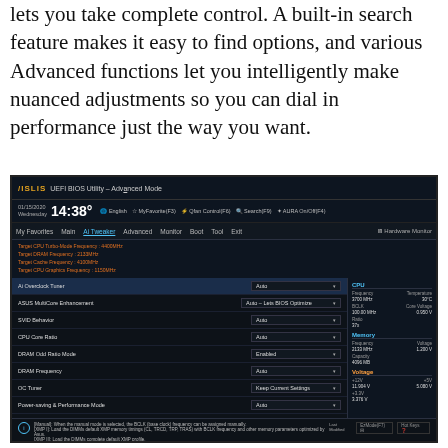lets you take complete control. A built-in search feature makes it easy to find options, and various Advanced functions let you intelligently make nuanced adjustments so you can dial in performance just the way you want.
[Figure (screenshot): ASUS UEFI BIOS Utility Advanced Mode screenshot showing the Ai Tweaker tab with settings including Ai Overclock Tuner, ASUS MultiCore Enhancement, SVID Behavior, CPU Core Ratio, DRAM Odd Ratio Mode, DRAM Frequency, OC Tuner, Power-saving & Performance Mode, and a Hardware Monitor panel on the right showing CPU and Memory stats.]